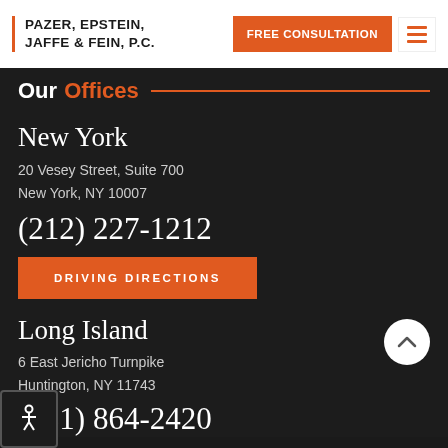PAZER, EPSTEIN, JAFFE & FEIN, P.C. | FREE CONSULTATION
Our Offices
New York
20 Vesey Street, Suite 700
New York, NY 10007
(212) 227-1212
DRIVING DIRECTIONS
Long Island
6 East Jericho Turnpike
Huntington, NY 11743
(631) 864-2420